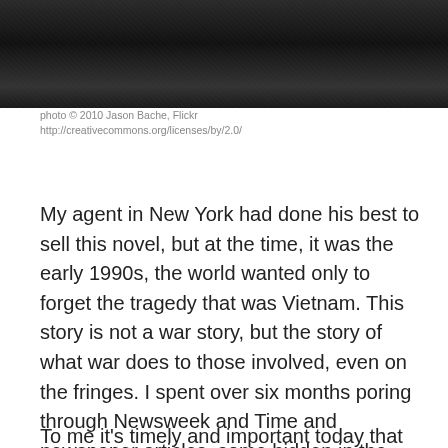[Figure (photo): Black and white photograph, dark tones, appears to show a scene related to Vietnam war or jungle setting]
photo © 2010 Jason Bache, Flickr
http://creativecommons.org/licenses/by/2.0/
My agent in New York had done his best to sell this novel, but at the time, it was the early 1990s, the world wanted only to forget the tragedy that was Vietnam. This story is not a war story, but the story of what war does to those involved, even on the fringes. I spent over six months poring through Newsweek and Time and newspaper articles, some hidden in the back pages to research the background. What happens in this book truly happened during that long-drawn out war fought for all the wrong reasons. It has only five-star reviews, some from the wives of Vietnam vets.
To me it's timely and important today that we continue to